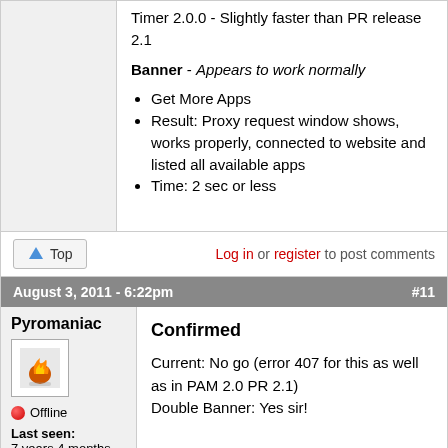Timer 2.0.0 - Slightly faster than PR release 2.1
Banner - Appears to work normally
Get More Apps
Result: Proxy request window shows, works properly, connected to website and listed all available apps
Time: 2 sec or less
Log in or register to post comments
August 3, 2011 - 6:22pm  #11
Pyromaniac
Offline
Last seen: 7 years 4 months ago
Joined:
Confirmed
Current: No go (error 407 for this as well as in PAM 2.0 PR 2.1)
Double Banner: Yes sir!